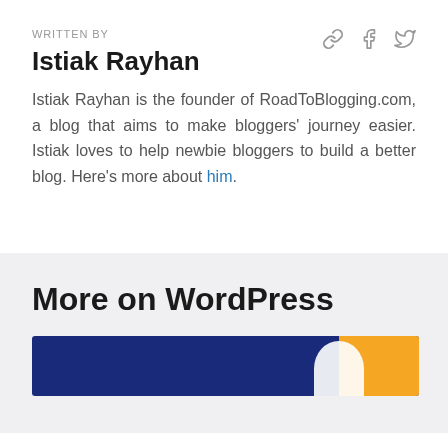WRITTEN BY
Istiak Rayhan
Istiak Rayhan is the founder of RoadToBlogging.com, a blog that aims to make bloggers' journey easier. Istiak loves to help newbie bloggers to build a better blog. Here's more about him.
More on WordPress
[Figure (photo): Partial card image with dark blue and yellow/orange background colors, partially visible at bottom of page]